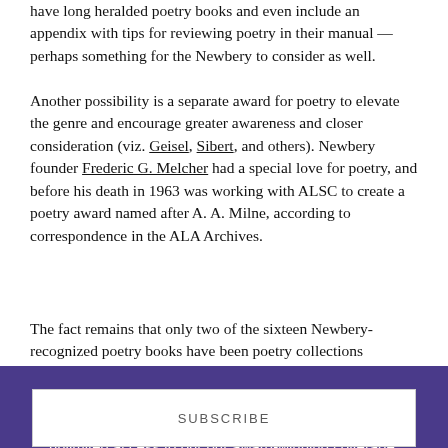have long heralded poetry books and even include an appendix with tips for reviewing poetry in their manual — perhaps something for the Newbery to consider as well.
Another possibility is a separate award for poetry to elevate the genre and encourage greater awareness and closer consideration (viz. Geisel, Sibert, and others). Newbery founder Frederic G. Melcher had a special love for poetry, and before his death in 1963 was working with ALSC to create a poetry award named after A. A. Milne, according to correspondence in the ALA Archives.
The fact remains that only two of the sixteen Newbery-recognized poetry books have been poetry collections
Back to School Sale - 40% off. Subscribe now to unlock unlimited access to our our award-winning coverage.
SUBSCRIBE